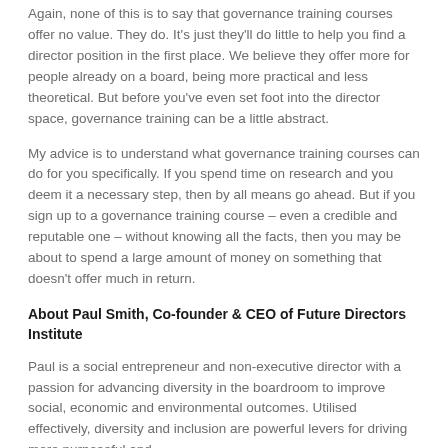Again, none of this is to say that governance training courses offer no value. They do. It's just they'll do little to help you find a director position in the first place. We believe they offer more for people already on a board, being more practical and less theoretical. But before you've even set foot into the director space, governance training can be a little abstract.
My advice is to understand what governance training courses can do for you specifically. If you spend time on research and you deem it a necessary step, then by all means go ahead. But if you sign up to a governance training course – even a credible and reputable one – without knowing all the facts, then you may be about to spend a large amount of money on something that doesn't offer much in return.
About Paul Smith, Co-founder & CEO of Future Directors Institute
Paul is a social entrepreneur and non-executive director with a passion for advancing diversity in the boardroom to improve social, economic and environmental outcomes. Utilised effectively, diversity and inclusion are powerful levers for driving more purposeful and …